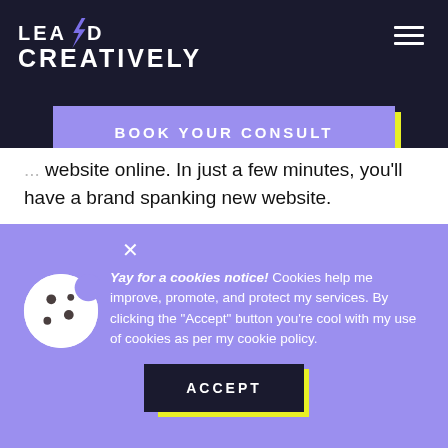[Figure (logo): Lead Creatively logo with lightning bolt, white text on dark background]
BOOK YOUR CONSULT
website online. In just a few minutes, you'll have a brand spanking new website.
Yay for a cookies notice! Cookies help me improve, promote, and protect my services. By clicking the "Accept" button you're cool with my use of cookies as per my cookie policy.
ACCEPT